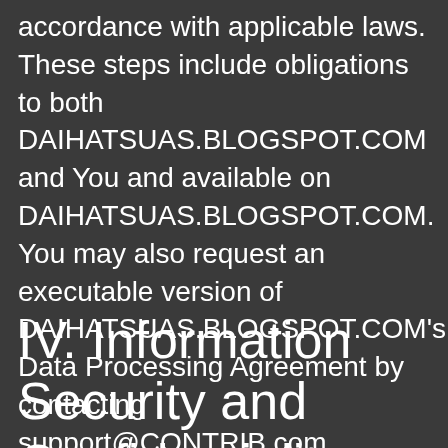accordance with applicable laws. These steps include obligations to both DAIHATSUAS.BLOGSPOT.COM and You and available on DAIHATSUAS.BLOGSPOT.COM. You may also request an executable version of DAIHATSUAS.BLOGSPOT.COM's Data Processing Agreement by contacting support@CONTRIB.com.
IV. Information Security and Confidentiality